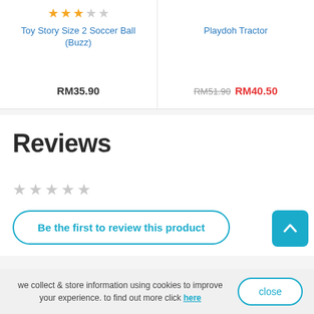Toy Story Size 2 Soccer Ball (Buzz)
RM35.90
Playdoh Tractor
RM51.90  RM40.50
Reviews
Be the first to review this product
we collect & store information using cookies to improve your experience. to find out more click here
close